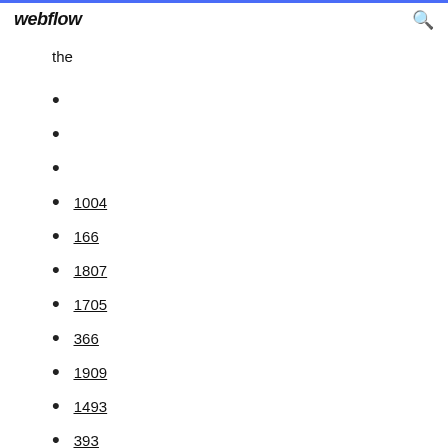webflow
the
1004
166
1807
1705
366
1909
1493
393